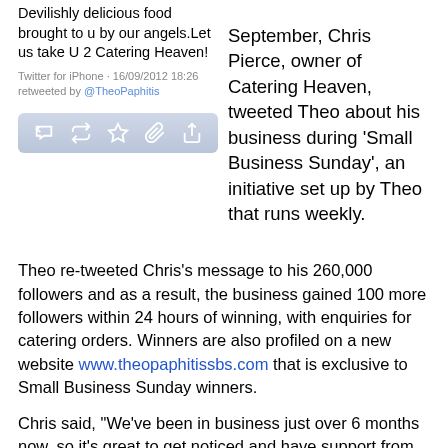[Figure (screenshot): Screenshot of a tweet from @CateringHeaven reading 'Devilishly delicious food brought to u by our angels. Let us take U 2 Catering Heaven!' with Twitter for iPhone metadata dated 16/09/2012 18:26, retweeted by @TheoPaphitis, and Twitter action toolbar below.]
September, Chris Pierce, owner of Catering Heaven, tweeted Theo about his business during ‘Small Business Sunday’, an initiative set up by Theo that runs weekly.
Theo re-tweeted Chris’s message to his 260,000 followers and as a result, the business gained 100 more followers within 24 hours of winning, with enquiries for catering orders. Winners are also profiled on a new website www.theopaphitissbs.com that is exclusive to Small Business Sunday winners.
Chris said, “We’ve been in business just over 6 months now, so it’s great to get noticed and have support from